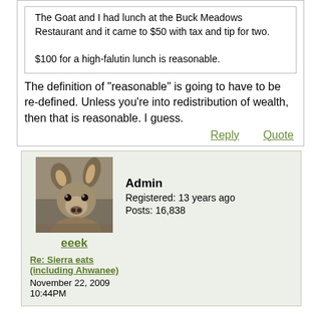The Goat and I had lunch at the Buck Meadows Restaurant and it came to $50 with tax and tip for two.

$100 for a high-falutin lunch is reasonable.
The definition of "reasonable" is going to have to be re-defined. Unless you're into redistribution of wealth, then that is reasonable. I guess.
Reply   Quote
[Figure (photo): Avatar photo of a deer/mule deer facing the camera in a field]
eeek
Admin
Registered: 13 years ago
Posts: 16,838
Re: Sierra eats (including Ahwanee)
November 22, 2009
10:44PM